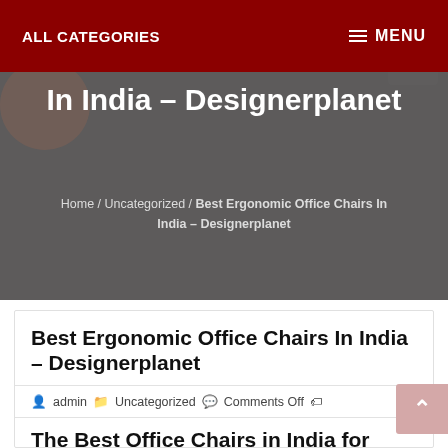ALL CATEGORIES    MENU
In India – Designerplanet
Home / Uncategorized / Best Ergonomic Office Chairs In India – Designerplanet
Best Ergonomic Office Chairs In India – Designerplanet
admin   Uncategorized   Comments Off
The Best Office Chairs in India for your Home office | Best Ergonomic